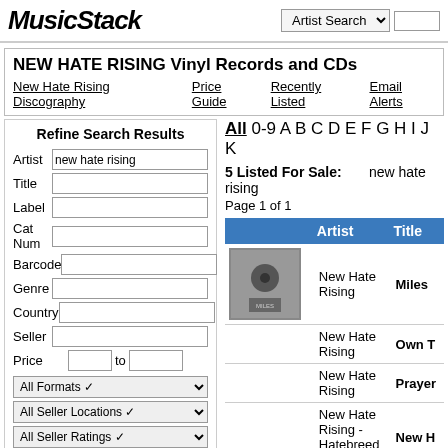MusicStack
NEW HATE RISING Vinyl Records and CDs
New Hate Rising Discography
Price Guide
Recently Listed
Email Alerts
Refine Search Results
All 0-9 A B C D E F G H I J K
5 Listed For Sale: new hate rising
Page 1 of 1
| Artist | Title |
| --- | --- |
| New Hate Rising | Miles |
| New Hate Rising | Own T |
| New Hate Rising | Prayer |
| New Hate Rising - Hatebreed (1 Cd ) | New H |